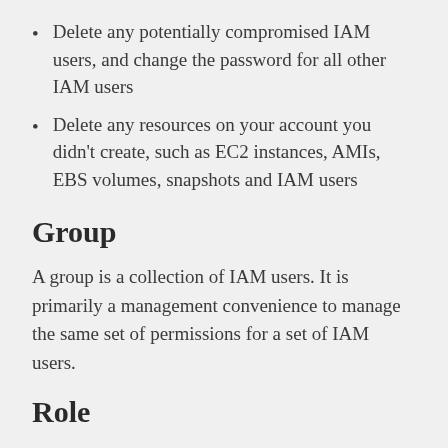Delete any potentially compromised IAM users, and change the password for all other IAM users
Delete any resources on your account you didn't create, such as EC2 instances, AMIs, EBS volumes, snapshots and IAM users
Group
A group is a collection of IAM users. It is primarily a management convenience to manage the same set of permissions for a set of IAM users.
Role